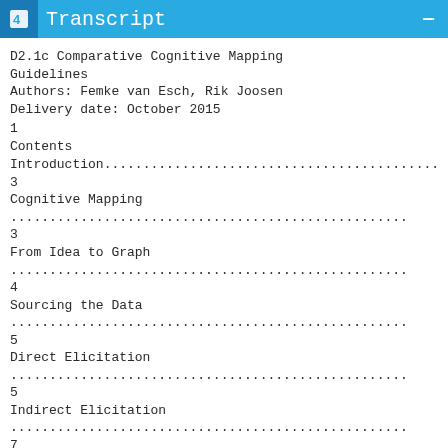Transcript
D2.1c Comparative Cognitive Mapping Guidelines
Authors: Femke van Esch, Rik Joosen
Delivery date: October 2015
1
Contents
Introduction....................................................3
Cognitive Mapping...............................................3
From Idea to Graph..............................................4
Sourcing the Data...............................................5
Direct Elicitation..............................................5
Indirect Elicitation............................................7
What CCM can Teach us...........................................8
Map and Narrative...............................................8
8